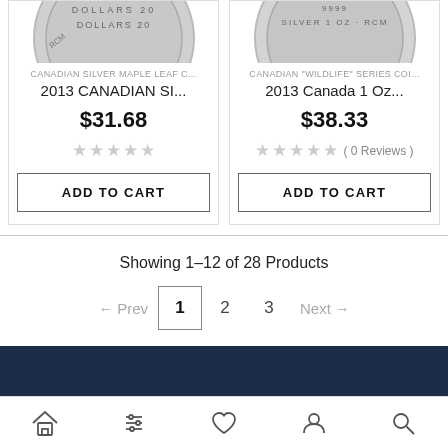[Figure (photo): Close-up of a Canadian Silver Maple Leaf coin showing 'DOLLARS 20' text on the edge]
CANADIAN SILVER MAPLE LEAF C...
2013 CANADIAN SI...
$31.68
[Figure (photo): Close-up of a Canadian Wildlife Series coin showing 'SILVER 1 OZ RCM' text]
CANADIAN "WILDLIFE" SERIES COI...
2013 Canada 1 Oz...
$38.33
( 0 Reviews )
Showing 1–12 of 28 Products
← Prev  1  2  3  Next →